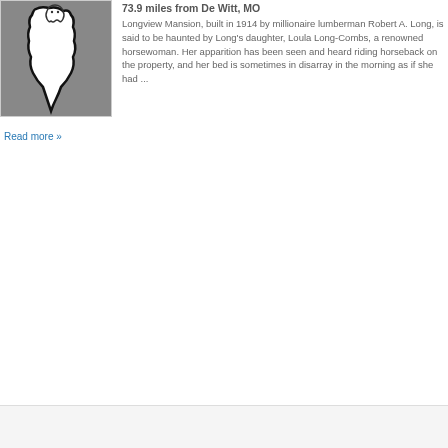[Figure (illustration): Black and white illustration of a map outline shape on a gray background, with a small ghost or figure icon at the top.]
73.9 miles from De Witt, MO
Longview Mansion, built in 1914 by millionaire lumberman Robert A. Long, is said to be haunted by Long's daughter, Loula Long-Combs, a renowned horsewoman. Her apparition has been seen and heard riding horseback on the property, and her bed is sometimes in disarray in the morning as if she had ...
Read more »